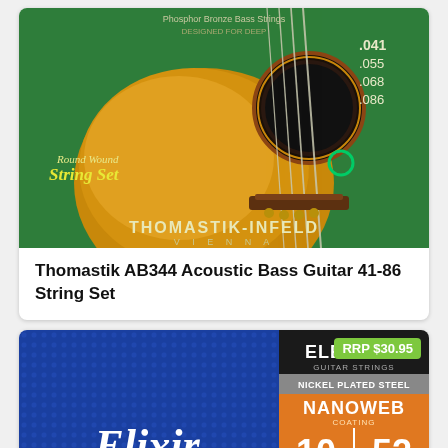[Figure (photo): Thomastik-Infeld AB344 Acoustic Bass Guitar string set packaging. Green and orange packaging showing an acoustic guitar body with string gauges .041, .055, .068, .086 listed. Text reads 'Round Wound String Set' and 'THOMASTIK-INFELD VIENNA'.]
Thomastik AB344 Acoustic Bass Guitar 41-86 String Set
[Figure (photo): Elixir Electric Guitar Strings packaging. Blue background with 'Elixir' brand script logo. Right portion shows 'ELECTRIC Guitar Strings', 'NICKEL PLATED STEEL', 'NANOWEB coating', gauges '10 52', 'LIGHT/HEAVY', 'GREAT TONE'. RRP $30.95 badge visible top right.]
RRP $30.95